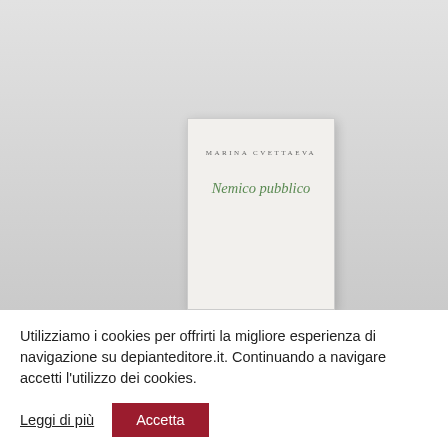[Figure (photo): A photograph of a book titled 'Nemico pubblico' by Marina Cvettaeva (Tsvetaeva), shown against a light gray background. The book cover is pale/off-white with the author's name in small caps and the title in green italic serif font.]
Utilizziamo i cookies per offrirti la migliore esperienza di navigazione su depianteditore.it. Continuando a navigare accetti l'utilizzo dei cookies.
Leggi di più
Accetta